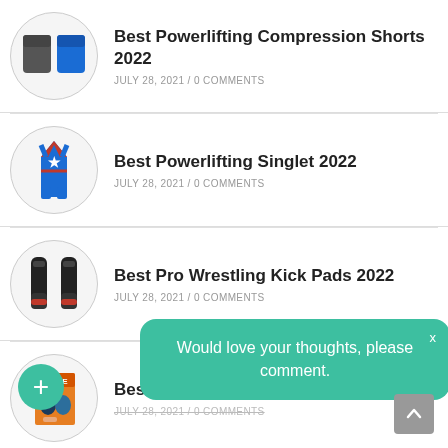[Figure (photo): Two compression shorts (gray and blue) in a circle]
Best Powerlifting Compression Shorts 2022
JULY 28, 2021 / 0 COMMENTS
[Figure (photo): A blue powerlifting singlet with star design in a circle]
Best Powerlifting Singlet 2022
JULY 28, 2021 / 0 COMMENTS
[Figure (photo): Black kick pads/leg guards in a circle]
Best Pro Wrestling Kick Pads 2022
JULY 28, 2021 / 0 COMMENTS
[Figure (photo): Wrestling book titled STATE in a circle]
Best Wrestling Books 2022
JULY 28, 2021 / 0 COMMENTS
Would love your thoughts, please comment.